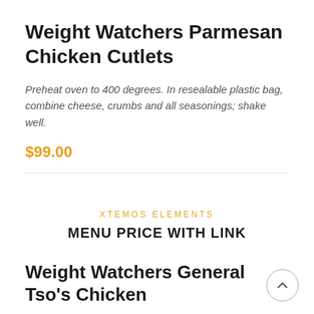Weight Watchers Parmesan Chicken Cutlets
Preheat oven to 400 degrees. In resealable plastic bag, combine cheese, crumbs and all seasonings; shake well.
$99.00
XTEMOS ELEMENTS
MENU PRICE WITH LINK
Weight Watchers General Tso's Chicken
In a medium bowl, whisk together broth, cornstarch, sugar, soy sauce, vinegar and ginger; set aside.